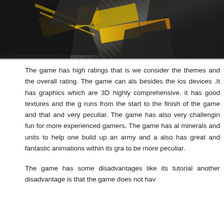[Figure (photo): Dark-themed game screenshot showing armored units/characters with yellow and gold accents against a dark background]
The game has high ratings that is we consider the themes and the overall rating. The game can also besides the ios devices .It has graphics which are 3D highly comprehensive. it has good textures and the g runs from the start to the finish of the game and that and very peculiar. The game has also very challengin fun for more experienced gamers. The game has al minerals and units to help one build up an army and a also has great and fantastic animations within its gra to be more peculiar.
The game has some disadvantages like its tutorial another disadvantage is that the game does not hav